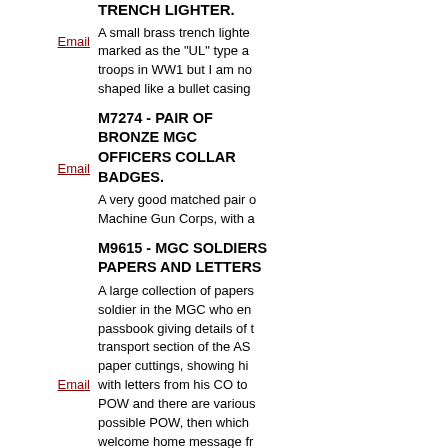TRENCH LIGHTER.
A small brass trench lighter marked as the "UL" type a troops in WW1 but I am no shaped like a bullet casing
M7274 - PAIR OF BRONZE MGC OFFICERS COLLAR BADGES.
A very good matched pair o Machine Gun Corps, with a
M9615 - MGC SOLDIERS PAPERS AND LETTERS
A large collection of papers soldier in the MGC who en passbook giving details of t transport section of the AS paper cuttings, showing hi with letters from his CO to POW and there are various possible POW, then which welcome home message f nurse when in the UK. The for service in 1919 and pap 1920. Lastly there is an en Signals in 1941, there is a have only touched on his s